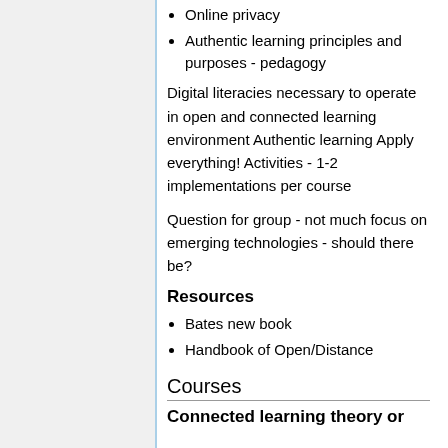Online privacy
Authentic learning principles and purposes - pedagogy
Digital literacies necessary to operate in open and connected learning environment Authentic learning Apply everything! Activities - 1-2 implementations per course
Question for group - not much focus on emerging technologies - should there be?
Resources
Bates new book
Handbook of Open/Distance
Courses
Connected learning theory or